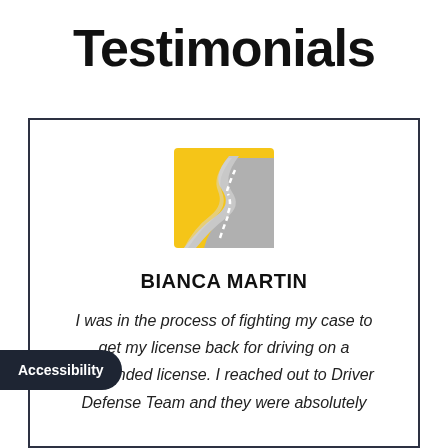Testimonials
[Figure (logo): Driver Defense Team logo: yellow square with winding gray road and white dashed center line]
BIANCA MARTIN
I was in the process of fighting my case to get my license back for driving on a suspended license. I reached out to Driver Defense Team and they were absolutely